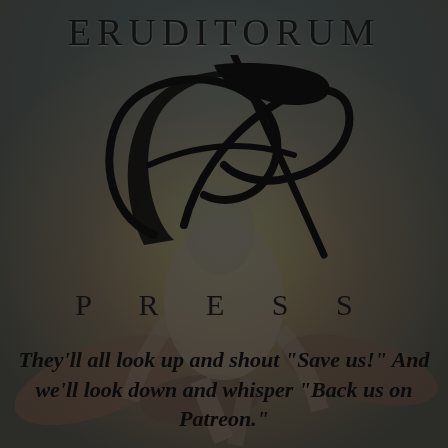[Figure (illustration): Background painterly illustration of a crouching humanoid figure with swirling organic forms in warm earth tones (reds, oranges, browns), overlaid with dark teal/grey semi-transparent wash. A large circular golden/yellow orb behind the figure. Eruditorum Press logo (stylized EP monogram in black script) centered over the background.]
ERUDITORUM
PRESS
They'll all look up and shout “Save us!” And we'll look down and whisper “Back us on Patreon.”